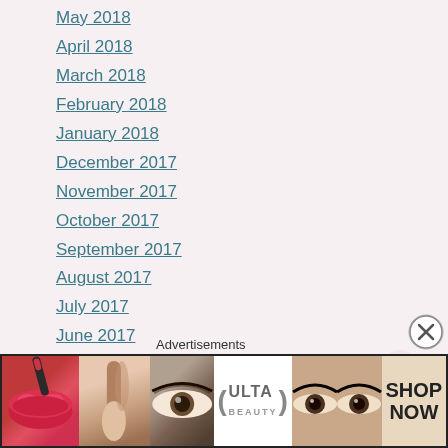May 2018
April 2018
March 2018
February 2018
January 2018
December 2017
November 2017
October 2017
September 2017
August 2017
July 2017
June 2017
May 2017
April 2017
March 2017
February 2017
[Figure (illustration): Decorative watermark/background image of a woman's face, faint pinkish-gray]
Advertisements
[Figure (infographic): Ulta Beauty advertisement banner with makeup images (lips, brush, eye, Ulta logo, eyes, SHOP NOW)]